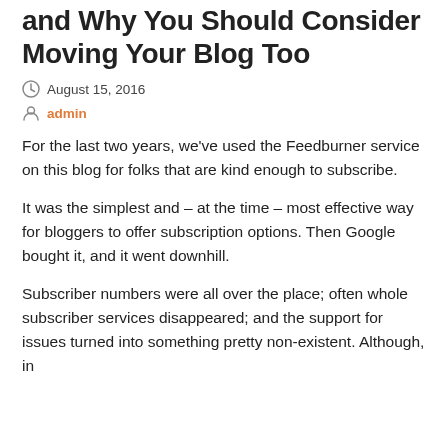and Why You Should Consider Moving Your Blog Too
August 15, 2016
admin
For the last two years, we've used the Feedburner service on this blog for folks that are kind enough to subscribe.
It was the simplest and – at the time – most effective way for bloggers to offer subscription options. Then Google bought it, and it went downhill.
Subscriber numbers were all over the place; often whole subscriber services disappeared; and the support for issues turned into something pretty non-existent. Although, in